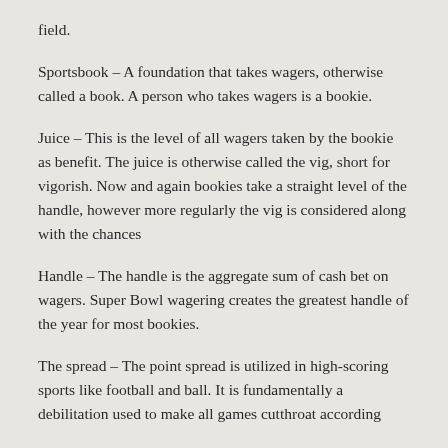field.
Sportsbook – A foundation that takes wagers, otherwise called a book. A person who takes wagers is a bookie.
Juice – This is the level of all wagers taken by the bookie as benefit. The juice is otherwise called the vig, short for vigorish. Now and again bookies take a straight level of the handle, however more regularly the vig is considered along with the chances
Handle – The handle is the aggregate sum of cash bet on wagers. Super Bowl wagering creates the greatest handle of the year for most bookies.
The spread – The point spread is utilized in high-scoring sports like football and ball. It is fundamentally a debilitation used to make all games cutthroat according